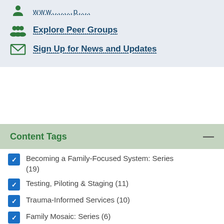Explore Peer Groups
Sign Up for News and Updates
Content Tags
Becoming a Family-Focused System: Series (19)
Testing, Piloting & Staging (11)
Trauma-Informed Services (10)
Family Mosaic: Series (6)
Out-of-Home Services (148)